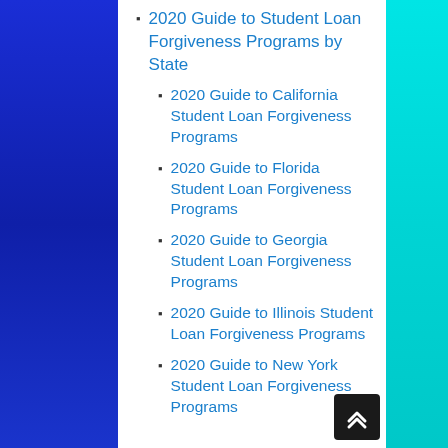2020 Guide to Student Loan Forgiveness Programs by State
2020 Guide to California Student Loan Forgiveness Programs
2020 Guide to Florida Student Loan Forgiveness Programs
2020 Guide to Georgia Student Loan Forgiveness Programs
2020 Guide to Illinois Student Loan Forgiveness Programs
2020 Guide to New York Student Loan Forgiveness Programs